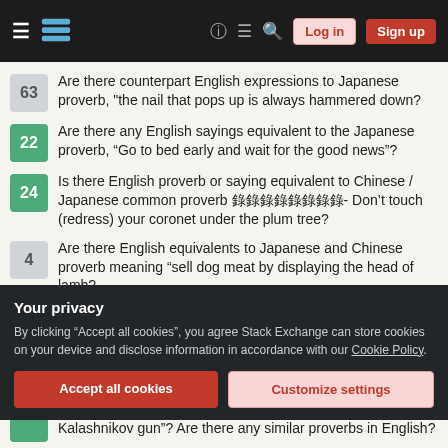Stack Exchange navigation bar with Log in and Sign up buttons
63 — Are there counterpart English expressions to Japanese proverb, "the nail that pops up is always hammered down?
22 — Are there any English sayings equivalent to the Japanese proverb, “Go to bed early and wait for the good news”?
24 — Is there English proverb or saying equivalent to Chinese / Japanese common proverb 錄錄錄錄錄錄錄錄- Don't touch (redress) your coronet under the plum tree?
4 — Are there English equivalents to Japanese and Chinese proverb meaning “sell dog meat by displaying the head of lamb?
14 — Are there figurative English proverbs (or idioms) to mean an expert (or likely winner) makes a great mistake?
Your privacy
By clicking “Accept all cookies”, you agree Stack Exchange can store cookies on your device and disclose information in accordance with our Cookie Policy.
Accept all cookies | Customize settings
Kalashnikov gun”? Are there any similar proverbs in English?